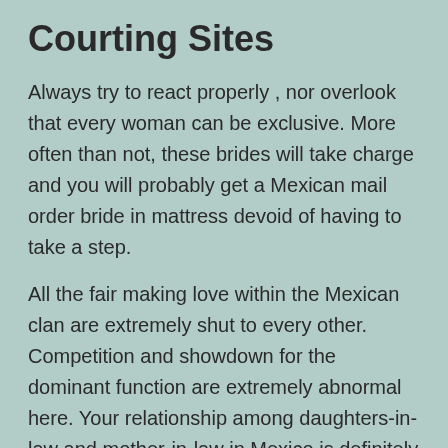Courting Sites
Always try to react properly , nor overlook that every woman can be exclusive. More often than not, these brides will take charge and you will probably get a Mexican mail order bride in mattress devoid of having to take a step.
All the fair making love within the Mexican clan are extremely shut to every other. Competition and showdown for the dominant function are extremely abnormal here. Your relationship among daughters-in-law and mother-in-law in Mexico is definitely saturated with honest like.